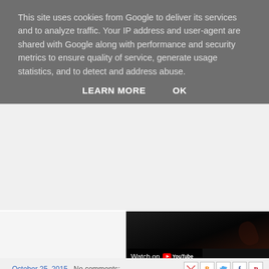This site uses cookies from Google to deliver its services and to analyze traffic. Your IP address and user-agent are shared with Google along with performance and security metrics to ensure quality of service, generate usage statistics, and to detect and address abuse.
LEARN MORE   OK
[Figure (screenshot): YouTube video embed showing a dark stage scene with 'Watch on YouTube' button overlay]
Overall a fun night (if spent mostly coughing at the back o... credible and talented local acts who are all doing well, and h... and buy Don't Look Down/Someone on the Balloon Asce... Bullingdon in Oxford on 29th November as part of Oxford City M...
- October 25, 2015   No comments: